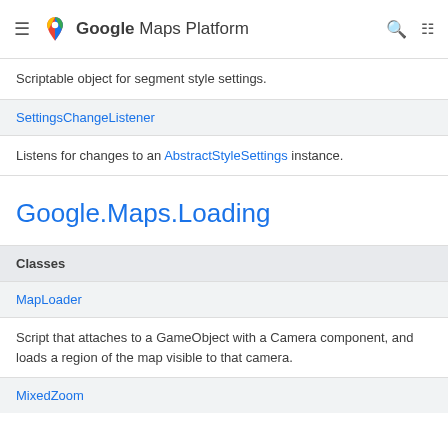Google Maps Platform
Scriptable object for segment style settings.
SettingsChangeListener
Listens for changes to an AbstractStyleSettings instance.
Google.Maps.Loading
| Classes |
| --- |
| MapLoader |
| MixedZoom |
Script that attaches to a GameObject with a Camera component, and loads a region of the map visible to that camera.